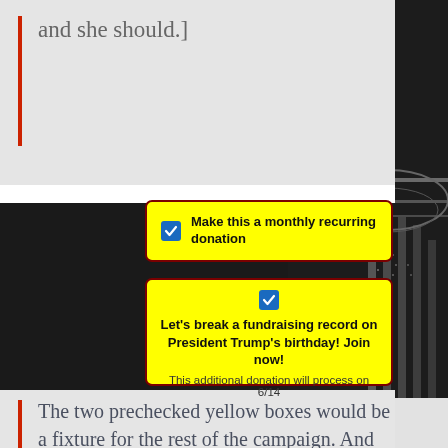and she should.]
[Figure (screenshot): Yellow pre-checked checkbox UI element: 'Make this a monthly recurring donation']
[Figure (screenshot): Yellow pre-checked checkbox UI element: "Let's break a fundraising record on President Trump's birthday! Join now!" with subtext: 'This additional donation will process on 6/14']
The two prechecked yellow boxes would be a fixture for the rest of the campaign. And so would a much larger volume of refunds.
[Figure (photo): Black and white photo of the U.S. Capitol building columns on the right side of the page]